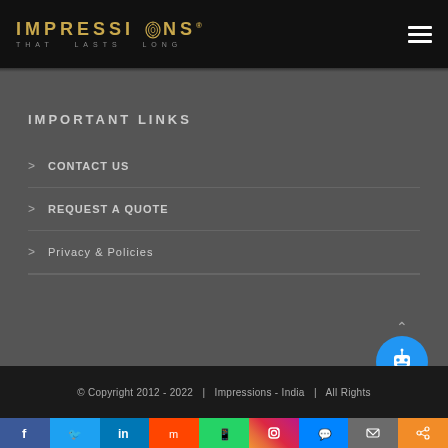IMPRESSIONS | THAT LASTS LONG
IMPORTANT LINKS
CONTACT US
REQUEST A QUOTE
Privacy & Policies
© Copyright 2012 - 2022  |  Impressions - India  |  All Rights
[Figure (other): Social sharing icons bar: Facebook, Twitter, LinkedIn, Mix, WhatsApp, Instagram, Messenger, Email, ShareThis]
[Figure (other): Blue circular chatbot/robot icon button]